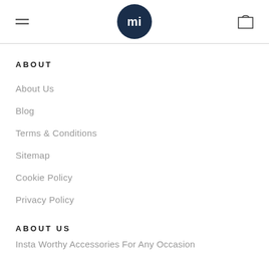mi logo, hamburger menu, shopping bag icon
ABOUT
About Us
Blog
Terms & Conditions
Sitemap
Cookie Policy
Privacy Policy
ABOUT US
Insta Worthy Accessories For Any Occasion